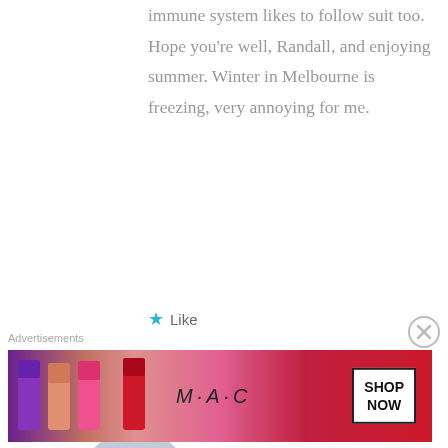immune system likes to follow suit too. Hope you're well, Randall, and enjoying summer. Winter in Melbourne is freezing, very annoying for me.
★ Like
Reply ↓
[Figure (illustration): Default user avatar — circular grey silhouette of a person on light blue-grey background]
David Daniel Ball on 21 July 2014 at 12:24 PM said:
Advertisements
[Figure (photo): MAC Cosmetics advertisement banner showing colorful lipsticks and a SHOP NOW box]